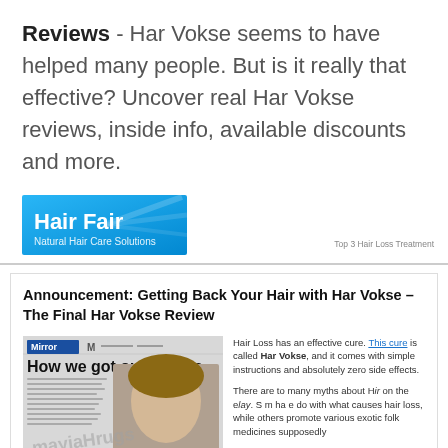Reviews - Har Vokse seems to have helped many people. But is it really that effective? Uncover real Har Vokse reviews, inside info, available discounts and more.
[Figure (logo): Hair Fair - Natural Hair Care Solutions logo with blue gradient background]
Top 3 Hair Loss Treatment
Announcement: Getting Back Your Hair with Har Vokse – The Final Har Vokse Review
[Figure (photo): Mirror magazine clipping showing 'How we got our hair back' headline with watermark overlay reading 'mayiaHrugs']
Hair Loss has an effective cure. This cure is called Har Vokse, and it comes with simple instructions and absolutely zero side effects.

There are to many myths about Hair on the eway. Some have do with what causes hair loss, while others promote various exotic folk medicines supposedly